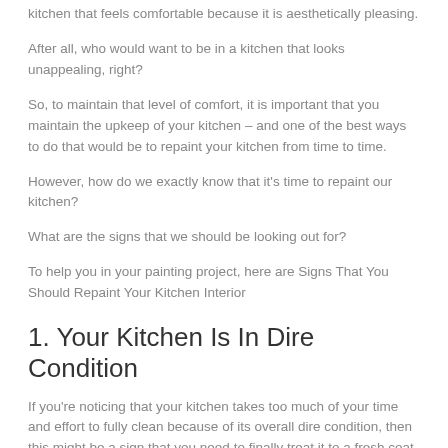kitchen that feels comfortable because it is aesthetically pleasing.
After all, who would want to be in a kitchen that looks unappealing, right?
So, to maintain that level of comfort, it is important that you maintain the upkeep of your kitchen – and one of the best ways to do that would be to repaint your kitchen from time to time.
However, how do we exactly know that it's time to repaint our kitchen?
What are the signs that we should be looking out for?
To help you in your painting project, here are Signs That You Should Repaint Your Kitchen Interior
1. Your Kitchen Is In Dire Condition
If you're noticing that your kitchen takes too much of your time and effort to fully clean because of its overall dire condition, then this might be a sign that you need to finally treat it to a fresh coat of paint.